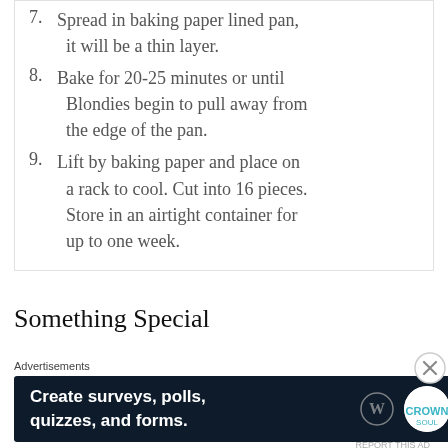7. Spread in baking paper lined pan, it will be a thin layer.
8. Bake for 20-25 minutes or until Blondies begin to pull away from the edge of the pan.
9. Lift by baking paper and place on a rack to cool. Cut into 16 pieces. Store in an airtight container for up to one week.
Something Special
Advertisements
[Figure (screenshot): Advertisement banner: dark navy background with white bold text reading 'Create surveys, polls, quizzes, and forms.' with WordPress and Crown logos on the right. Close button (X) in circle at far right.]